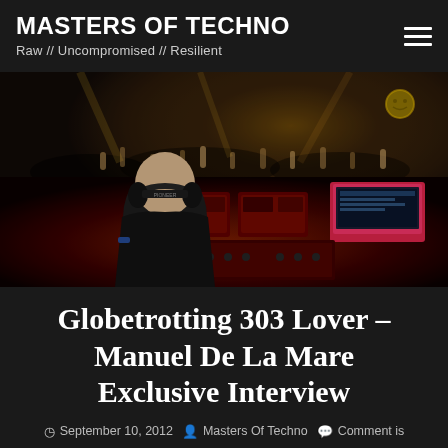MASTERS OF TECHNO
Raw // Uncompromised // Resilient
[Figure (photo): A DJ viewed from behind at a DJ booth with Pioneer CDJ decks and a pink laptop, facing a large crowd at a dark club/concert venue with colorful lights]
Globetrotting 303 Lover – Manuel De La Mare Exclusive Interview
September 10, 2012  Masters Of Techno  Comment is